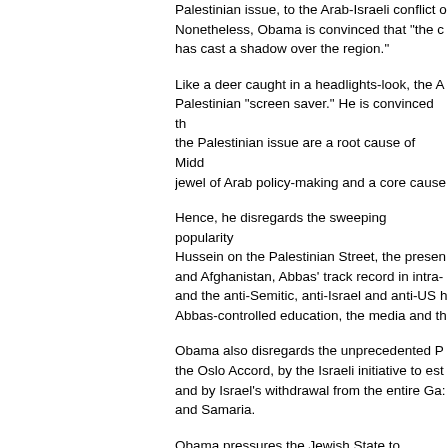Palestinian issue, to the Arab-Israeli conflict Nonetheless, Obama is convinced that "the c has cast a shadow over the region."
Like a deer caught in a headlights-look, the A Palestinian "screen saver." He is convinced t the Palestinian issue are a root cause of Mid jewel of Arab policy-making and a core caus
Hence, he disregards the sweeping popularit Hussein on the Palestinian Street, the prese and Afghanistan, Abbas' track record in intra- and the anti-Semitic, anti-Israel and anti-US Abbas-controlled education, the media and t
Obama also disregards the unprecedented P the Oslo Accord, by the Israeli initiative to es and by Israel's withdrawal from the entire Ga and Samaria.
Obama pressures the Jewish State to partitio 9-15 miles wide pre-1967 lines, in defiance o the Palestinian-Israeli conflict has never bee existence – of the Jewish State. Thus, Obam expectations and demands, distances them f negotiation table, and signals to the Palestini doing so, he forfeits the role of an honest bro
President Obama's position is at odds with t